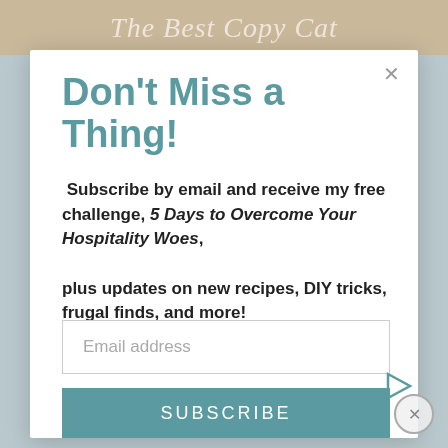[Figure (screenshot): Background header image showing partial text 'The Best Copy Cat' in italic script on a beige/tan food photography background]
Don't Miss a Thing!
Subscribe by email and receive my free challenge, 5 Days to Overcome Your Hospitality Woes, plus updates on new recipes, DIY tricks, frugal finds, and more!
[Figure (infographic): Email address input field (empty, placeholder text 'Email address')]
[Figure (infographic): SUBSCRIBE button in teal/muted blue-green color]